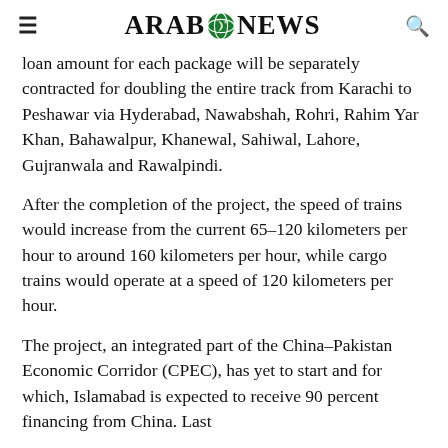ARAB NEWS
loan amount for each package will be separately contracted for doubling the entire track from Karachi to Peshawar via Hyderabad, Nawabshah, Rohri, Rahim Yar Khan, Bahawalpur, Khanewal, Sahiwal, Lahore, Gujranwala and Rawalpindi.
After the completion of the project, the speed of trains would increase from the current 65-120 kilometers per hour to around 160 kilometers per hour, while cargo trains would operate at a speed of 120 kilometers per hour.
The project, an integrated part of the China-Pakistan Economic Corridor (CPEC), has yet to start and for which, Islamabad is expected to receive 90 percent financing from China. Last